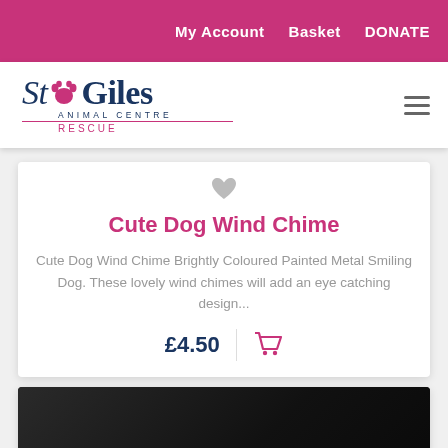My Account  Basket  DONATE
[Figure (logo): St Giles Animal Centre Rescue logo with paw print]
Cute Dog Wind Chime
Cute Dog Wind Chime Brightly Coloured Painted Metal Smiling Dog. These lovely wind chimes will add an eye catching design...
£4.50
[Figure (photo): Partial view of a black product (bottom card), appears to be a dark trapezoidal/bucket shaped object]